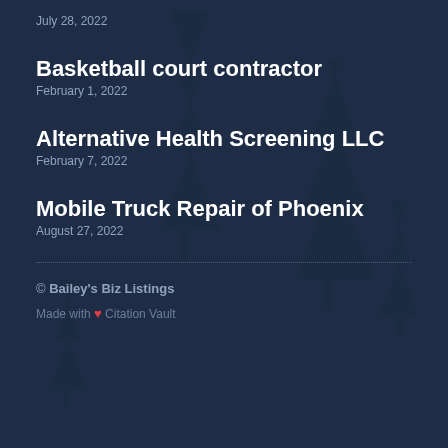July 28, 2022
Basketball court contractor
February 1, 2022
Alternative Health Screening LLC
February 7, 2022
Mobile Truck Repair of Phoenix
August 27, 2022
© Bailey's Biz Listings
Made with ❤ Citation Vault